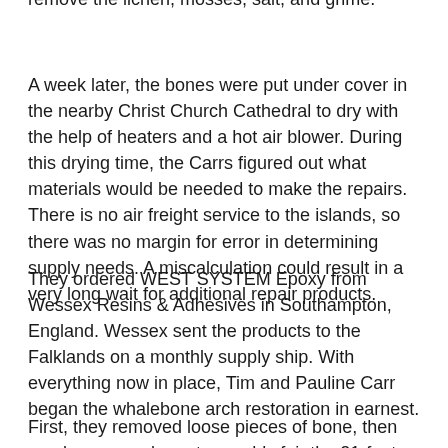remove the lichen, mosses, salt, and grime.
A week later, the bones were put under cover in the nearby Christ Church Cathedral to dry with the help of heaters and a hot air blower. During this drying time, the Carrs figured out what materials would be needed to make the repairs. There is no air freight service to the islands, so there was no margin for error in determining supply needs. A miscalculation could result in a very long wait for additional repair products.
They ordered WEST SYSTEM Epoxy from Wessex Resins & Adhesives in Southampton, England. Wessex sent the products to the Falklands on a monthly supply ship. With everything now in place, Tim and Pauline Carr began the whalebone arch restoration in earnest.
First, they removed loose pieces of bone, then used a power planer to roughly fair the 21-foot lengths. Next, they re-attached the two broken ends by drilling 1 1/4″ holes and